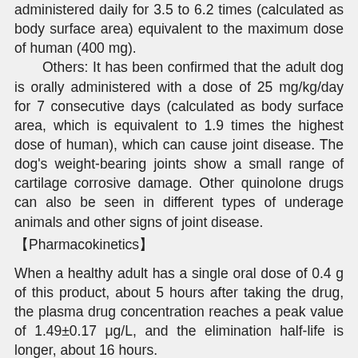administered daily for 3.5 to 6.2 times (calculated as body surface area) equivalent to the maximum dose of human (400 mg).
Others: It has been confirmed that the adult dog is orally administered with a dose of 25 mg/kg/day for 7 consecutive days (calculated as body surface area, which is equivalent to 1.9 times the highest dose of human), which can cause joint disease. The dog's weight-bearing joints show a small range of cartilage corrosive damage. Other quinolone drugs can also be seen in different types of underage animals and other signs of joint disease.
【Pharmacokinetics】
When a healthy adult has a single oral dose of 0.4 g of this product, about 5 hours after taking the drug, the plasma drug concentration reaches a peak value of 1.49±0.17 μg/L, and the elimination half-life is longer, about 16 hours.
According to the literature, this product is mainly absorbed in the small intestine after oral administration, and the stomach is hardly absorbed. The plasma protein binding rate of this product is 42 to 44%. When a single person is orally administered 150 mg of this product, the plasma drug concentration peaks at 1.72 μg/ml, and the